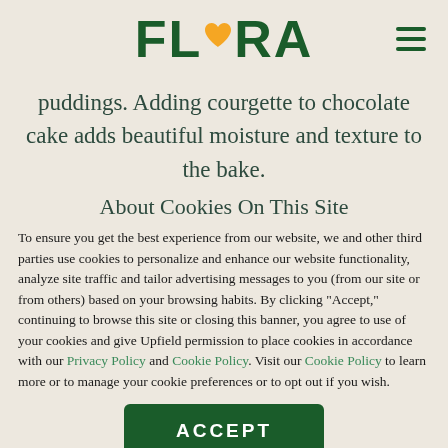FLORA
puddings. Adding courgette to chocolate cake adds beautiful moisture and texture to the bake.
About Cookies On This Site
To ensure you get the best experience from our website, we and other third parties use cookies to personalize and enhance our website functionality, analyze site traffic and tailor advertising messages to you (from our site or from others) based on your browsing habits. By clicking "Accept," continuing to browse this site or closing this banner, you agree to use of your cookies and give Upfield permission to place cookies in accordance with our Privacy Policy and Cookie Policy. Visit our Cookie Policy to learn more or to manage your cookie preferences or to opt out if you wish.
ACCEPT
OPTIONS